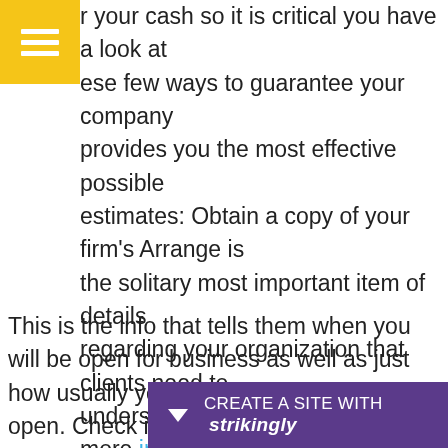[Figure (logo): Yellow square icon with three white horizontal lines (hamburger/document menu icon)]
r your cash so it is critical you have a look at ese few ways to guarantee your company provides you the most effective possible estimates: Obtain a copy of your firm's Arrange is the solitary most important item of details regarding your organization that clients need to understand about, view here for more info.
This is the info that tells them when you will be open for business as well as just how usually you are mosting likely to be open. Check it out! Click for m infor e
[Figure (other): Purple banner at bottom: down arrow icon followed by 'CREATE A SITE WITH strikingly' text in white on purple background]